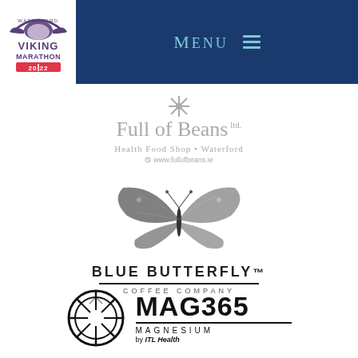[Figure (logo): Waterford Viking Marathon 2022 logo — white box top left]
[Figure (logo): Navigation header bar with Menu and hamburger icon]
[Figure (logo): Full of Beans Ltd. Health Food Shop Waterford logo with snowflake icon and www.fullofbeans.ie]
[Figure (logo): Blue Butterfly Coffee Company logo with butterfly illustration]
[Figure (logo): MAG365 Magnesium by ITL Health logo with circular starburst icon]